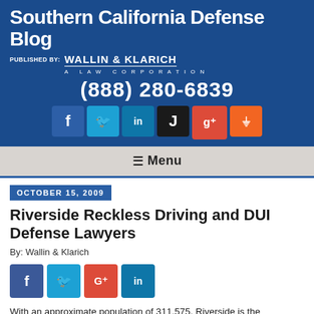Southern California Defense Blog
PUBLISHED BY: WALLIN & KLARICH A LAW CORPORATION
(888) 280-6839
[Figure (infographic): Social media icon buttons: Facebook, Twitter, LinkedIn, JD Supra, Google+, RSS]
≡ Menu
OCTOBER 15, 2009
Riverside Reckless Driving and DUI Defense Lawyers
By: Wallin & Klarich
[Figure (infographic): Social share buttons: Facebook, Twitter, Google+, LinkedIn]
With an approximate population of 311,575, Riverside is the